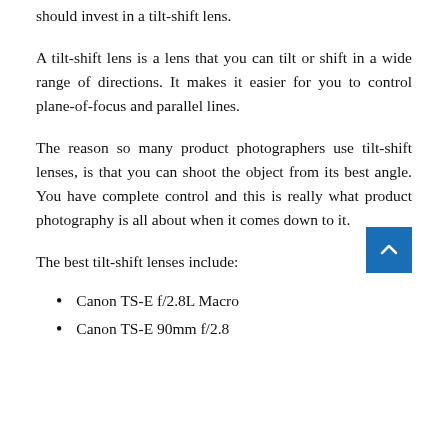should invest in a tilt-shift lens.
A tilt-shift lens is a lens that you can tilt or shift in a wide range of directions. It makes it easier for you to control plane-of-focus and parallel lines.
The reason so many product photographers use tilt-shift lenses, is that you can shoot the object from its best angle. You have complete control and this is really what product photography is all about when it comes down to it.
The best tilt-shift lenses include:
Canon TS-E f/2.8L Macro
Canon TS-E 90mm f/2.8